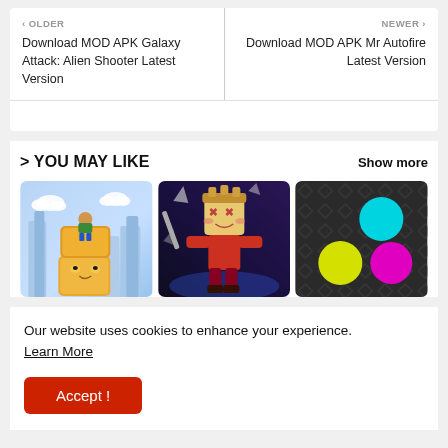< OLDER
Download MOD APK Galaxy Attack: Alien Shooter Latest Version
NEWER >
Download MOD APK Mr Autofire Latest Version
> YOU MAY LIKE
Show more
[Figure (illustration): Game thumbnail showing a stacked block cat character with a small figure riding on top, colorful cityscape background]
[Figure (illustration): Game thumbnail showing an anime-style character with a box head holding weapons in a dark space-like environment]
[Figure (illustration): Game thumbnail showing colorful dots (cyan, yellow, magenta) on a dark diamond-pattern background]
Our website uses cookies to enhance your experience. Learn More
Accept !